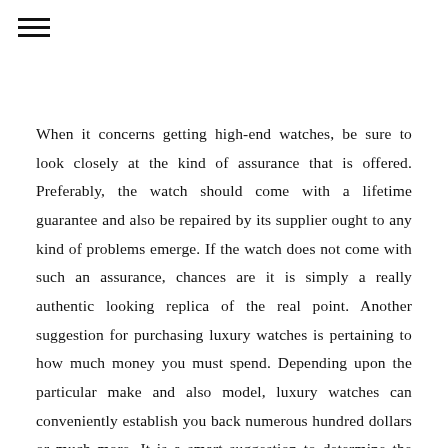When it concerns getting high-end watches, be sure to look closely at the kind of assurance that is offered. Preferably, the watch should come with a lifetime guarantee and also be repaired by its supplier ought to any kind of problems emerge. If the watch does not come with such an assurance, chances are it is simply a really authentic looking replica of the real point. Another suggestion for purchasing luxury watches is pertaining to how much money you must spend. Depending upon the particular make and also model, luxury watches can conveniently establish you back numerous hundred dollars or much more. It is a smart suggestion to determine the amount that you agree to invest in such a costly acquisition and stay within your means. Stopping working to do this, you might easily end up buying a watch that you really do not need as well